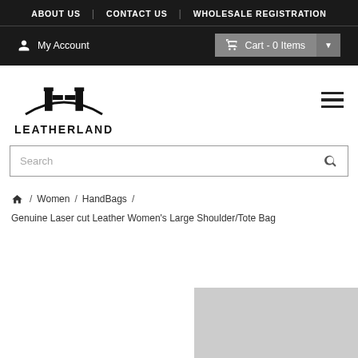ABOUT US | CONTACT US | WHOLESALE REGISTRATION
My Account  Cart - 0 Items
[Figure (logo): Leatherland logo with stylized LL emblem above the text LEATHERLAND]
Search
/ Women / HandBags / Genuine Laser cut Leather Women's Large Shoulder/Tote Bag